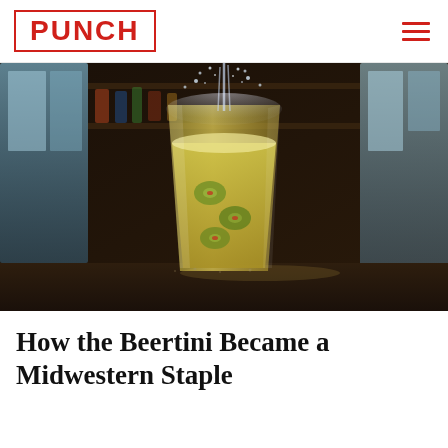PUNCH
[Figure (photo): A pint glass filled with golden beer and green olives, photographed in a bar setting with liquid being poured in, splashing dramatically. Bar background is dark with some blurred colorful items visible.]
How the Beertini Became a Midwestern Staple